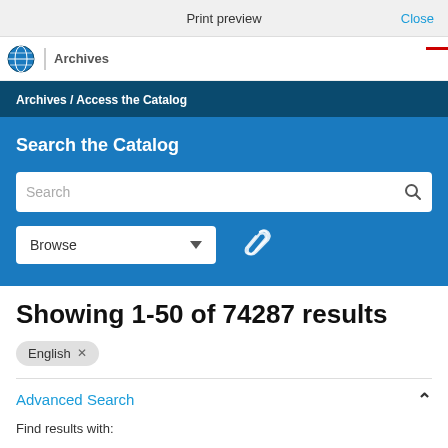Print preview   Close
[Figure (logo): Globe logo with Archives text and vertical divider]
Archives / Access the Catalog
Search the Catalog
Search
Browse
Showing 1-50 of 74287 results
English ×
Advanced Search
Find results with: